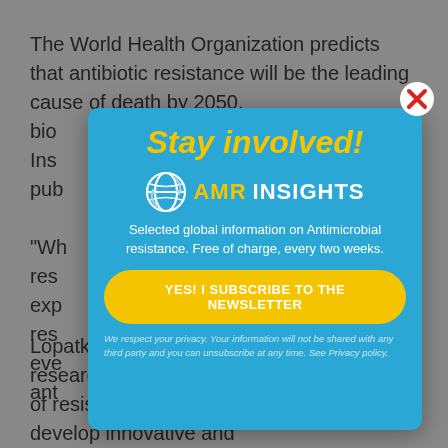The World Health Organization predicts that antibiotic resistance will be the leading cause of death by 2050. bio... Ins... pub...
[Figure (infographic): Newsletter subscription popup overlay for AMR Insights. Blue background with 'Stay involved!' in yellow italic bold text, AMR Insights logo (globe icon + AMR in yellow + INSIGHTS in white), description 'Selected global information on Antimicrobial resistance. Free of charge, every two weeks.', yellow rounded button 'YES! I SUBSCRIBE TO THE NEWSLETTER', privacy note in small italic text, and a red X close button in top right corner.]
Lopatkin leads the Lopatkin Lab, where researchers investigate the rise and spread of resistance in microbial populations to develop innovative and